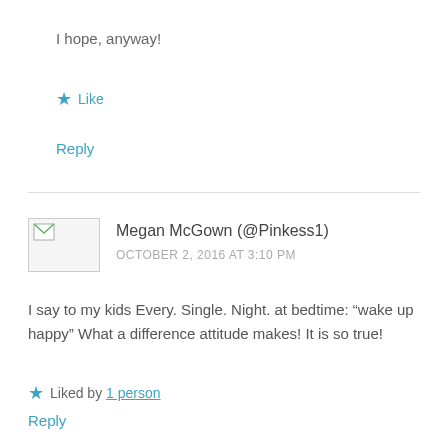I hope, anyway!
★ Like
Reply
Megan McGown (@Pinkess1)
OCTOBER 2, 2016 AT 3:10 PM
I say to my kids Every. Single. Night. at bedtime: “wake up happy” What a difference attitude makes! It is so true!
★ Liked by 1 person
Reply